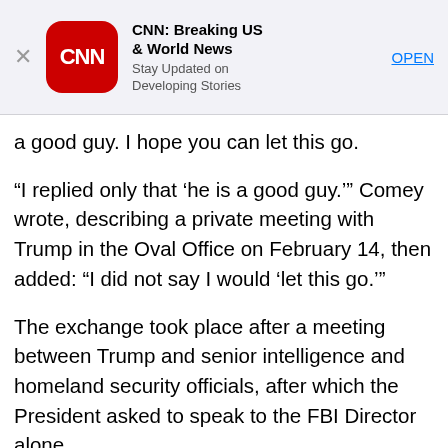[Figure (screenshot): CNN app advertisement banner with CNN red rounded logo, title 'CNN: Breaking US & World News', subtitle 'Stay Updated on Developing Stories', and blue 'OPEN' link button]
a good guy. I hope you can let this go.
“I replied only that ‘he is a good guy.’” Comey wrote, describing a private meeting with Trump in the Oval Office on February 14, then added: “I did not say I would ‘let this go.’”
The exchange took place after a meeting between Trump and senior intelligence and homeland security officials, after which the President asked to speak to the FBI Director alone.
Comey said in his testimony that he understood the President to be requesting that he drop the investigation into Flynn, who had resigned the day before. But he says he did not understand Trump to